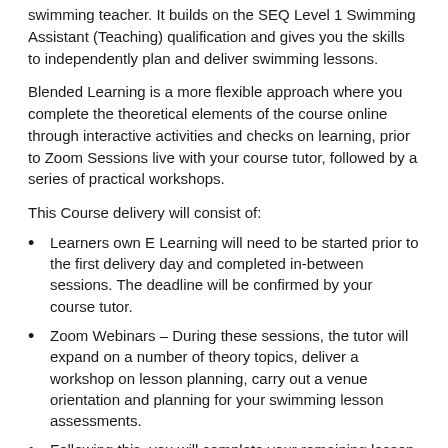swimming teacher. It builds on the SEQ Level 1 Swimming Assistant (Teaching) qualification and gives you the skills to independently plan and deliver swimming lessons.
Blended Learning is a more flexible approach where you complete the theoretical elements of the course online through interactive activities and checks on learning, prior to Zoom Sessions live with your course tutor, followed by a series of practical workshops.
This Course delivery will consist of:
Learners own E Learning will need to be started prior to the first delivery day and completed in-between sessions. The deadline will be confirmed by your course tutor.
Zoom Webinars – During these sessions, the tutor will expand on a number of theory topics, deliver a workshop on lesson planning, carry out a venue orientation and planning for your swimming lesson assessments.
Following this, you will complete your remaining lesson plans ready for your practical sessions. Please ensure you set aside additional time to do this before the practical days .